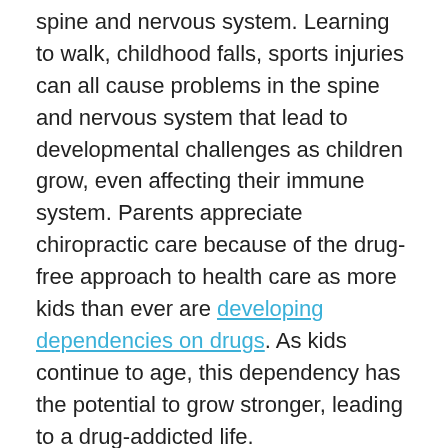spine and nervous system. Learning to walk, childhood falls, sports injuries can all cause problems in the spine and nervous system that lead to developmental challenges as children grow, even affecting their immune system. Parents appreciate chiropractic care because of the drug-free approach to health care as more kids than ever are developing dependencies on drugs. As kids continue to age, this dependency has the potential to grow stronger, leading to a drug-addicted life.
Chiropractic’s drug-free protocols can prevent this from happening as seen in the recent reports related to a 50% reduction in Opioids used with chiropractic care.